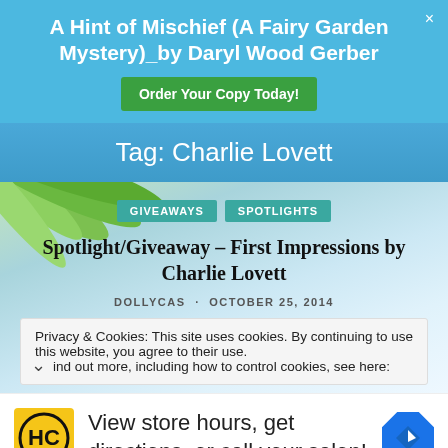A Hint of Mischief (A Fairy Garden Mystery)_by Daryl Wood Gerber — Order Your Copy Today!
Tag: Charlie Lovett
[Figure (illustration): Palm leaf decorative background image behind post content area]
GIVEAWAYS   SPOTLIGHTS
Spotlight/Giveaway – First Impressions by Charlie Lovett
DOLLYCAS · OCTOBER 25, 2014
Privacy & Cookies: This site uses cookies. By continuing to use this website, you agree to their use. Find out more, including how to control cookies, see here:
[Figure (logo): Bottom advertisement: HC salon logo and navigation icon with text 'View store hours, get directions, or call your salon!']